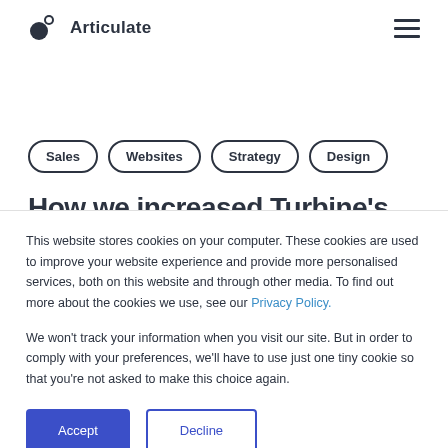Articulate
Sales
Websites
Strategy
Design
How we increased Turbine's
This website stores cookies on your computer. These cookies are used to improve your website experience and provide more personalised services, both on this website and through other media. To find out more about the cookies we use, see our Privacy Policy.
We won't track your information when you visit our site. But in order to comply with your preferences, we'll have to use just one tiny cookie so that you're not asked to make this choice again.